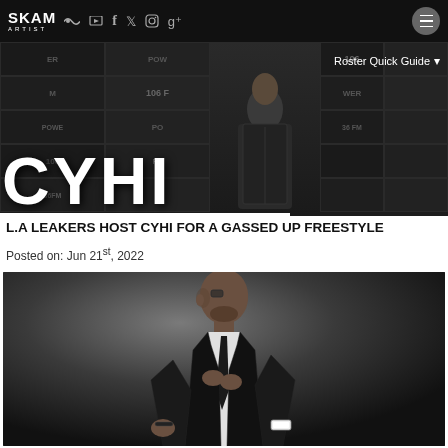SKAM ARTIST
[Figure (photo): CYHI banner with Power 106 FM background tiles and large white CYHI text overlay. Roster Quick Guide dropdown on right.]
L.A LEAKERS HOST CYHI FOR A GASSED UP FREESTYLE
Posted on: Jun 21st, 2022
[Figure (photo): Photo of CyHi The Prynce, a male rapper in profile/three-quarter view, wearing a black leather bomber jacket over a white shirt with black tie, adjusting his tie. He has a bracelet and a white watch. The background is grey/dark studio lighting.]